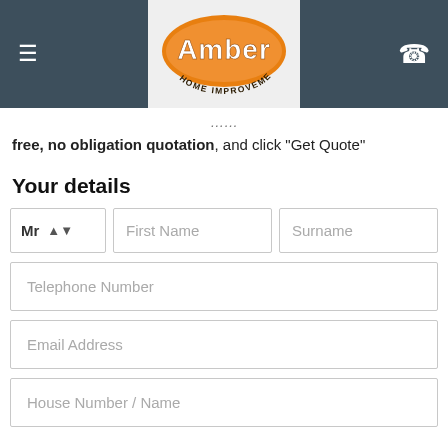[Figure (logo): Amber Home Improvements logo — orange oval with white 'Amber' text and dark 'HOME IMPROVEMENTS' text below, on a light grey background. Navigation bar is dark grey/slate with hamburger menu on left and phone icon on right.]
free, no obligation quotation, and click "Get Quote"
Your details
Mr  ⬍   First Name   Surname
Telephone Number
Email Address
House Number / Name